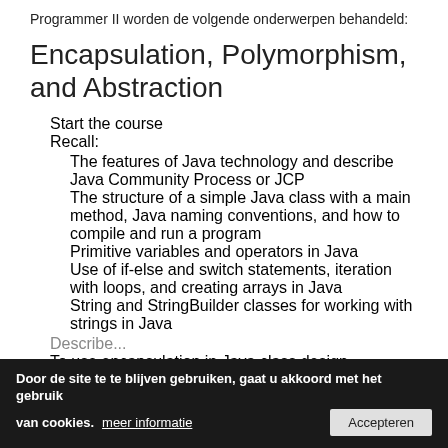Programmer II worden de volgende onderwerpen behandeld:
Encapsulation, Polymorphism, and Abstraction
Start the course
Recall:
The features of Java technology and describe Java Community Process or JCP
The structure of a simple Java class with a main method, Java naming conventions, and how to compile and run a program
Primitive variables and operators in Java
Use of if-else and switch statements, iteration with loops, and creating arrays in Java
String and StringBuilder classes for working with strings in Java
Describe...
To use encapsulation in Java class design
To create and use Java subclasses
Door de site te te blijven gebruiken, gaat u akkoord met het gebruik van cookies. meer informatie [Accepteren]